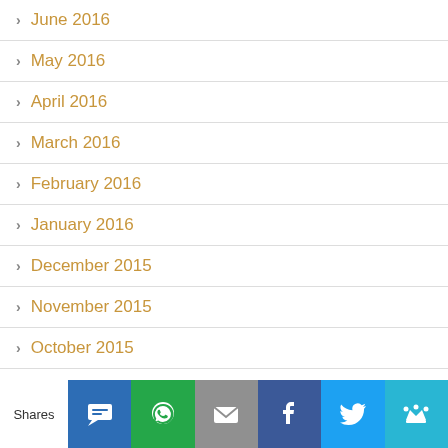June 2016
May 2016
April 2016
March 2016
February 2016
January 2016
December 2015
November 2015
October 2015
September 2015
May 2015
April 2015
March 2015
Shares